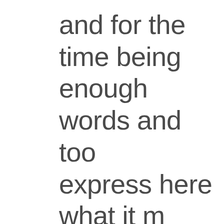and for the time being enough words and too express here what it m But it is super special t Tracy my therapist is a being, and the day I w room was the day I wo lottery. I had no idea th